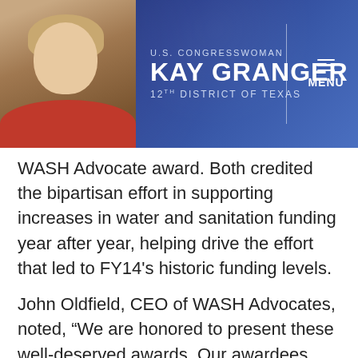U.S. Congresswoman Kay Granger — 12th District of Texas | MENU
WASH Advocate award. Both credited the bipartisan effort in supporting increases in water and sanitation funding year after year, helping drive the effort that led to FY14's historic funding levels.
John Oldfield, CEO of WASH Advocates, noted, “We are honored to present these well-deserved awards. Our awardees work hard to save and improve the lives of millions of people through the provision of safe drinking water, sanitation, and hygiene across Africa, Asia, and Latin America. The 2014 WASH Advocate Awards honor their current leadership, and the WASH